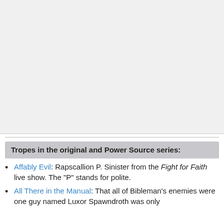[Figure (other): Large blank/placeholder image area at top of page, light gray background]
Tropes in the original and Power Source series:
Affably Evil: Rapscallion P. Sinister from the Fight for Faith live show. The "P" stands for polite.
All There in the Manual: That all of Bibleman's enemies were one guy named Luxor Spawndroth was only